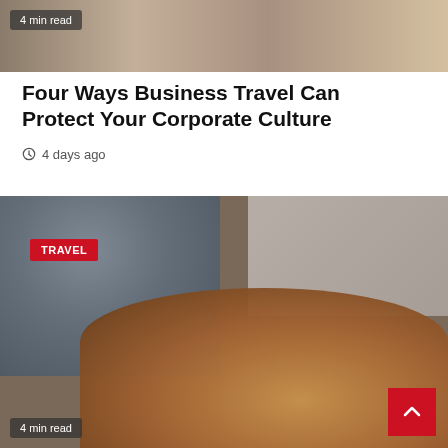[Figure (photo): Top portion of a photo showing a desk scene, partially cropped, with a dark semi-transparent badge reading '4 min read']
Four Ways Business Travel Can Protect Your Corporate Culture
4 days ago
[Figure (photo): Photo of a woman sitting on a bed working on a laptop with a golden retriever dog lying in the foreground. A red 'TRAVEL' badge is overlaid in the top-left. A '4 min read' badge appears at the bottom-left. A red scroll-to-top button with a caret/arrow is at the bottom-right.]